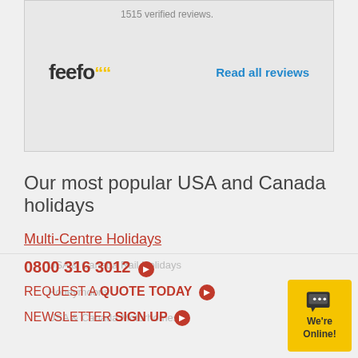1515 verified reviews.
[Figure (logo): Feefo logo with yellow quotation marks]
Read all reviews
Our most popular USA and Canada holidays
Multi-Centre Holidays
Fly-Drive Holidays
Route 66 Holidays
Escorted Holidays
Harley Holidays to America
USA & Canada Rail Holidays
Honeymoons
USA & Canada Motorhomes
0800 316 3012
REQUEST A QUOTE TODAY
NEWSLETTER SIGN UP
[Figure (illustration): Yellow chat widget with speech bubble icon and 'We're Online!' text]